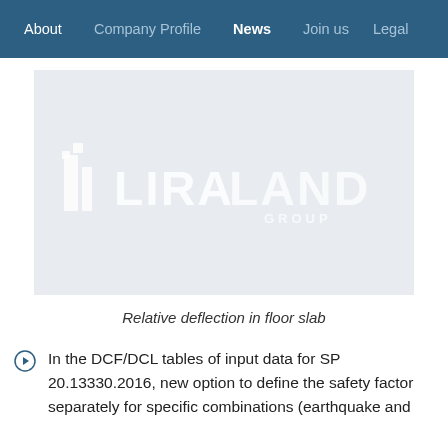About | Company Profile | News | Join us | Legal
[Figure (logo): LIRA LAND GROUP logo on light grey background]
Relative deflection in floor slab
In the DCF/DCL tables of input data for SP 20.13330.2016, new option to define the safety factor separately for specific combinations (earthquake and